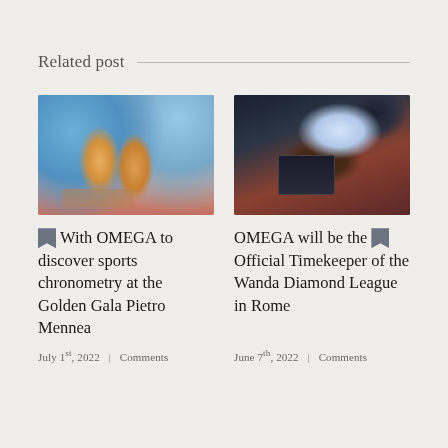Related post
[Figure (photo): Close-up photo of two hands passing a yellow relay baton on a running track, one hand wearing a watch and wristband]
With OMEGA to discover sports chronometry at the Golden Gala Pietro Mennea
July 1st, 2022  |  Comments
[Figure (photo): Person in red shirt sitting at a laptop computer showing silhouettes of runners, with a monitor and cables visible in the background at a sports timing station]
OMEGA will be the Official Timekeeper of the Wanda Diamond League in Rome
June 7th, 2022  |  Comments